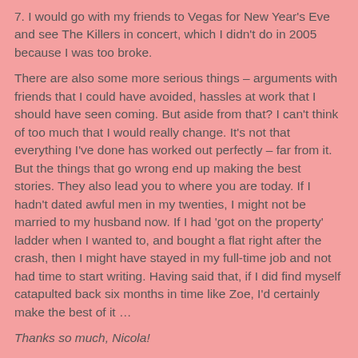7. I would go with my friends to Vegas for New Year's Eve and see The Killers in concert, which I didn't do in 2005 because I was too broke.
There are also some more serious things – arguments with friends that I could have avoided, hassles at work that I should have seen coming. But aside from that? I can't think of too much that I would really change. It's not that everything I've done has worked out perfectly – far from it. But the things that go wrong end up making the best stories. They also lead you to where you are today. If I hadn't dated awful men in my twenties, I might not be married to my husband now. If I had 'got on the property' ladder when I wanted to, and bought a flat right after the crash, then I might have stayed in my full-time job and not had time to start writing. Having said that, if I did find myself catapulted back six months in time like Zoe, I'd certainly make the best of it …
Thanks so much, Nicola!
chicklitchloe at 10:00 am    No comments: